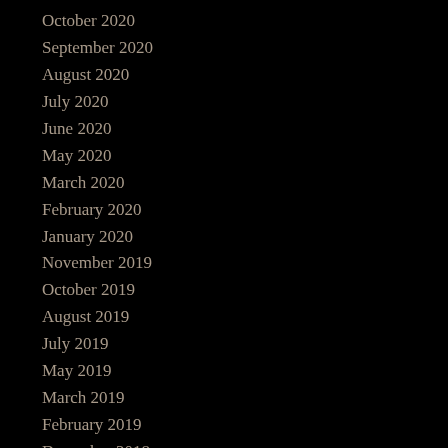October 2020
September 2020
August 2020
July 2020
June 2020
May 2020
March 2020
February 2020
January 2020
November 2019
October 2019
August 2019
July 2019
May 2019
March 2019
February 2019
December 2018
November 2018
October 2018
September 2018